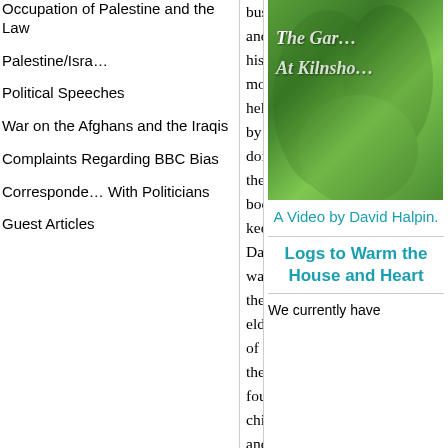Occupation of Palestine and the Law
Palestine/Israel
Political Speeches
War on the Afghans and the Iraqis
Complaints Regarding BBC Bias
Correspondence With Politicians
Guest Articles
business, and his mother helped by doing the book keeping. David was the eldest of their four children, and times were tough after the war, when purchase tax was ruthlessly used to constrain consumer spending. David is tall and can seem forbidding – as he says, “I often look fierce but I’m very gentle – most of the time!” and this is probably the result of his early life. He learned tenderness and the ability to nurture from his mother, as he watched her caring for his younger siblings. She loved babies and enthused about their hands, calling them “little starfish”. David admits, “A lot of my drive to stop cruelty in the world comes from my mother.” He is motivated by his love of children: “When I look at
[Figure (photo): Photo of garden plants with text overlay 'The Garden At Kilnsho...' on green leafy background]
A Video by David Halpin.
Logs to Warm the House and Heart
We currently have